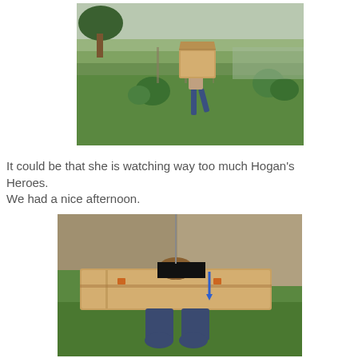[Figure (photo): Person running across a green garden/yard carrying a large cardboard box over their upper body/head, obscuring their face. Trees and garden plants visible in background.]
It could be that she is watching way too much Hogan's Heroes.
We had a nice afternoon.
[Figure (photo): Person kneeling on grass with a large flat cardboard box over their body like stocks or a pillory. The person's face is blacked out. The cardboard has tape on it and small orange squares visible. Blue arrow or marking visible on the box.]